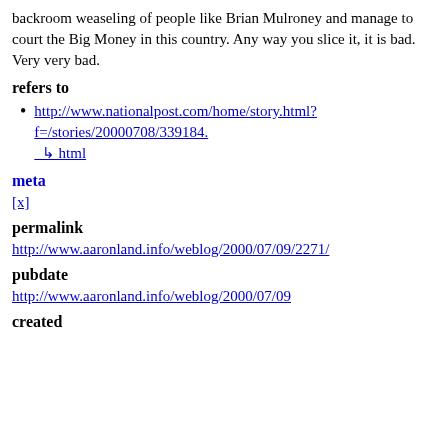backroom weaseling of people like Brian Mulroney and manage to court the Big Money in this country. Any way you slice it, it is bad. Very very bad.
refers to
http://www.nationalpost.com/home/story.html?f=/stories/20000708/339184.
↳ html
meta
[x]
permalink
http://www.aaronland.info/weblog/2000/07/09/2271/
pubdate
http://www.aaronland.info/weblog/2000/07/09
created